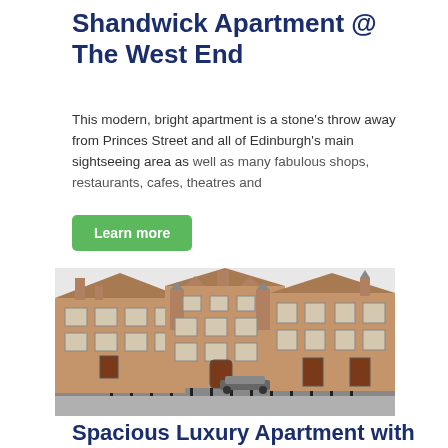Shandwick Apartment @ The West End
This modern, bright apartment is a stone's throw away from Princes Street and all of Edinburgh's main sightseeing area as well as many fabulous shops, restaurants, cafes, theatres and
Learn more
[Figure (photo): Exterior photo of a large Victorian sandstone building in Edinburgh with ornate gabled roofline, arched windows, dark wooden doors, iron fence in foreground and a parked car visible.]
Spacious Luxury Apartment with